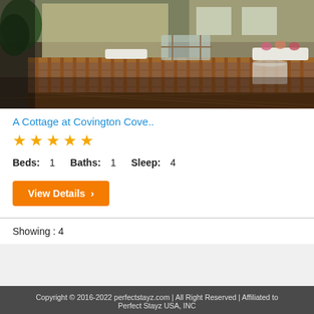[Figure (photo): Exterior photo of a cottage showing a wooden deck with railings, patio furniture, flower boxes, and a glass door entrance surrounded by greenery.]
A Cottage at Covington Cove..
[Figure (other): Five gold star rating icons]
Beds: 1   Baths: 1   Sleep: 4
View Details >
Showing : 4
Copyright © 2016-2022 perfectstayz.com | All Right Reserved | Affiliated to Perfect Stayz USA, INC